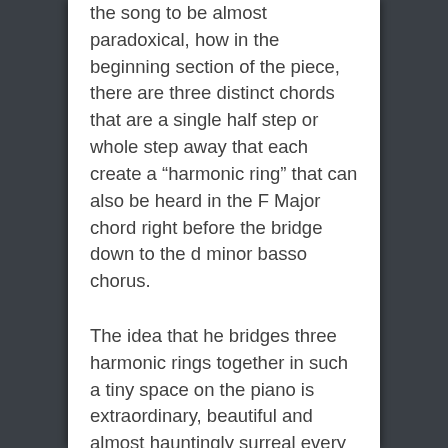the song to be almost paradoxical, how in the beginning section of the piece, there are three distinct chords that are a single half step or whole step away that each create a “harmonic ring” that can also be heard in the F Major chord right before the bridge down to the d minor basso chorus.

The idea that he bridges three harmonic rings together in such a tiny space on the piano is extraordinary, beautiful and almost hauntingly surreal every time I listen to it. On a more subjective, abstract level, the piece evokes the same sense of mystery and